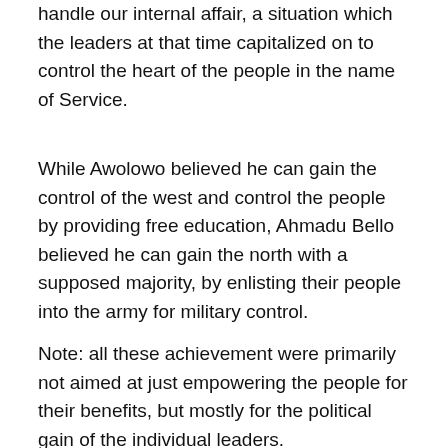handle our internal affair, a situation which the leaders at that time capitalized on to control the heart of the people in the name of Service.
While Awolowo believed he can gain the control of the west and control the people by providing free education, Ahmadu Bello believed he can gain the north with a supposed majority, by enlisting their people into the army for military control.
Note: all these achievement were primarily not aimed at just empowering the people for their benefits, but mostly for the political gain of the individual leaders.